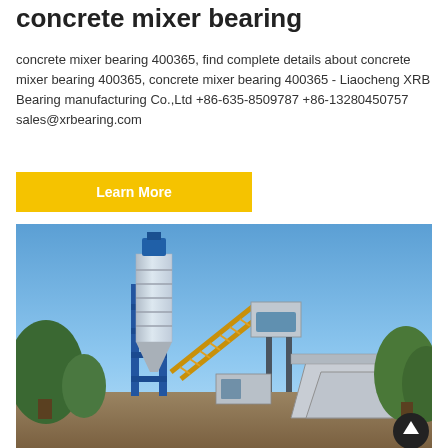concrete mixer bearing
concrete mixer bearing 400365, find complete details about concrete mixer bearing 400365, concrete mixer bearing 400365 - Liaocheng XRB Bearing manufacturing Co.,Ltd +86-635-8509787 +86-13280450757 sales@xrbearing.com
Learn More
[Figure (photo): Outdoor photo of a concrete batching plant with a tall cylindrical silo on a blue framework, conveyor belt, mixing unit, aggregate hoppers, and trees in the background under a blue sky.]